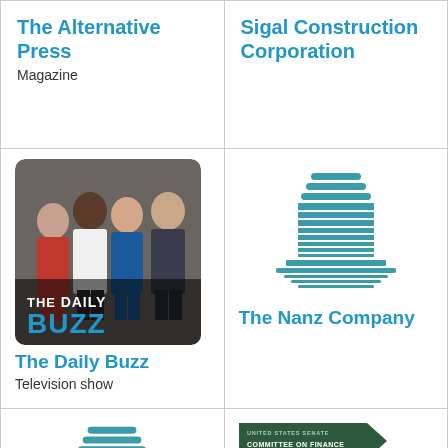The Alternative Press
Magazine
Sigal Construction Corporation
[Figure (photo): Group photo of four people (The Daily Buzz TV show hosts) with 'THE DAILY BUZZ' text overlay on image]
The Daily Buzz
Television show
[Figure (logo): Teal building/skyscraper logo icon for The Nanz Company]
The Nanz Company
[Figure (logo): Teal building/skyscraper logo icon]
[Figure (logo): United States Senate Committee on Finance banner logo with dark green background]
United States Senate Committee on Finance